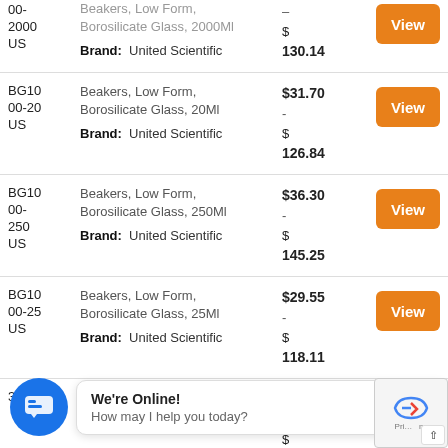| SKU | Description | Price | Action |
| --- | --- | --- | --- |
| BG1000-2000US | Beakers, Low Form, Borosilicate Glass, 2000Ml
Brand: United Scientific | $ -
$ 130.14 | View |
| BG1000-20US | Beakers, Low Form, Borosilicate Glass, 20Ml
Brand: United Scientific | $31.70 -
$ 126.84 | View |
| BG1000-250US | Beakers, Low Form, Borosilicate Glass, 250Ml
Brand: United Scientific | $36.30 -
$ 145.25 | View |
| BG1000-25US | Beakers, Low Form, Borosilicate Glass, 25Ml
Brand: United Scientific | $29.55 -
$ 118.11 | View |
| BG1000-3000US (partial) | ... | $26.93 -
$ ... | View |
We're Online! How may I help you today?